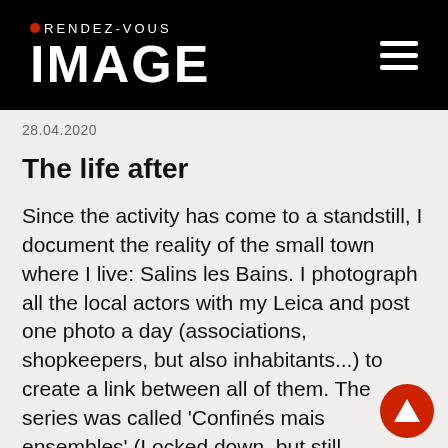RENDEZ-VOUS IMAGE
28.04.2020
The life after
Since the activity has come to a standstill, I document the reality of the small town where I live: Salins les Bains. I photograph all the local actors with my Leica and post one photo a day (associations, shopkeepers, but also inhabitants...) to create a link between all of them. The series was called 'Confinés mais ensembles' (Locked down, but still